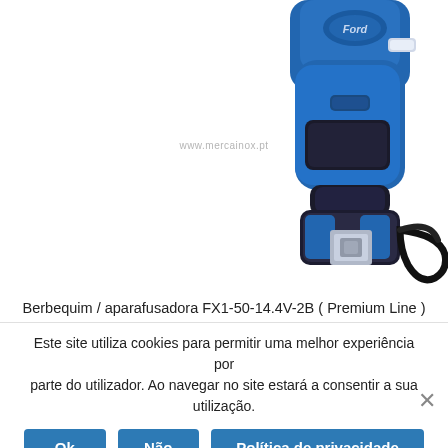[Figure (photo): Blue Ford-branded cordless drill/screwdriver (FX1-50-14.4V-2B Premium Line) photographed against white background, showing the lower body, chuck area, battery, and a black wrist strap.]
Berbequim / aparafusadora FX1-50-14.4V-2B ( Premium Line )
Este site utiliza cookies para permitir uma melhor experiência por parte do utilizador. Ao navegar no site estará a consentir a sua utilização.
Ok   Não   Política de privacidade